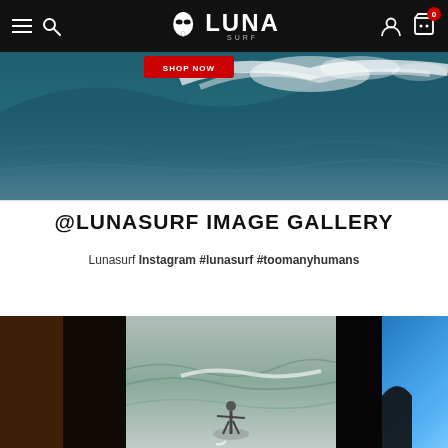Luna Surf navigation bar with menu, search, logo, account and cart icons
[Figure (photo): Surfing wave hero image with a red button overlay, showing a large breaking ocean wave in blue-green tones]
@LUNASURF IMAGE GALLERY
Lunasurf Instagram #lunasurf #toomanyhumans
[Figure (photo): Image gallery strip showing three surfing/beach photos side by side: dark brown toned photo, surfer on wave center, blue sky beach photo on right]